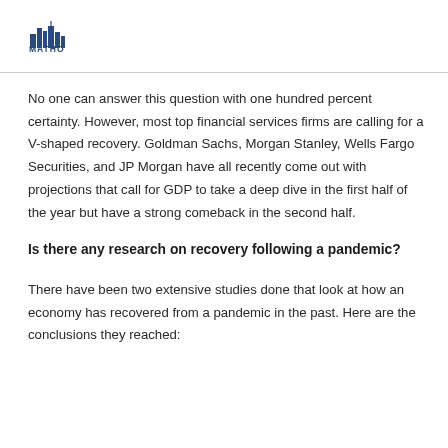MATHO [logo]
No one can answer this question with one hundred percent certainty. However, most top financial services firms are calling for a V-shaped recovery. Goldman Sachs, Morgan Stanley, Wells Fargo Securities, and JP Morgan have all recently come out with projections that call for GDP to take a deep dive in the first half of the year but have a strong comeback in the second half.
Is there any research on recovery following a pandemic?
There have been two extensive studies done that look at how an economy has recovered from a pandemic in the past. Here are the conclusions they reached: